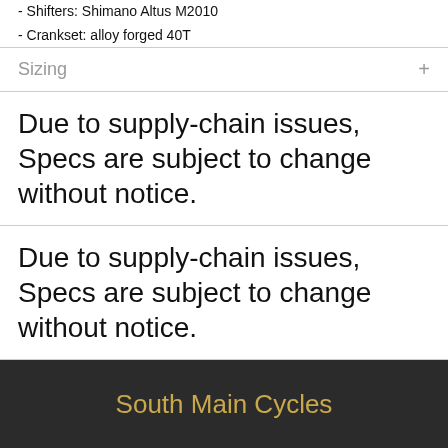- Shifters: Shimano Altus M2010
- Crankset: alloy forged 40T
Sizing
Due to supply-chain issues, Specs are subject to change without notice.
Due to supply-chain issues, Specs are subject to change without notice.
South Main Cycles